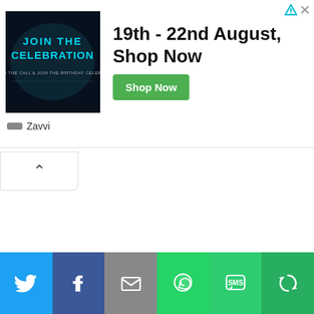[Figure (screenshot): Advertisement banner for Zavvi: image on left showing 'JOIN THE CELEBRATION' text on dark background, headline '19th - 22nd August, Shop Now' with green 'Shop Now' button, and Zavvi brand name below. Corner has ad indicator icons. Below the banner is a collapse/chevron tab. Bottom has social sharing bar with Twitter, Facebook, Email, WhatsApp, SMS, and More buttons.]